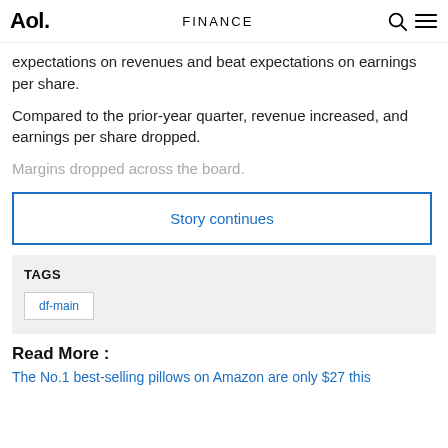Aol. FINANCE
expectations on revenues and beat expectations on earnings per share.
Compared to the prior-year quarter, revenue increased, and earnings per share dropped.
Margins dropped across the board.
Story continues
TAGS
df-main
Read More :
The No.1 best-selling pillows on Amazon are only $27 this